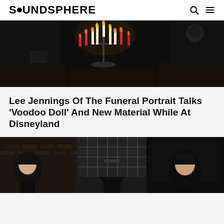SOUNDSPHERE
[Figure (photo): Dark atmospheric photo of people in black clothing holding candles and candleholders with red and white lit candles, dramatic Gothic/occult aesthetic]
Lee Jennings Of The Funeral Portrait Talks ‘Voodoo Doll’ And New Material While At Disneyland
[Figure (photo): Photo of band members in a dark room, partially visible, showing people with dark hair against a dark background with industrial/grid window]